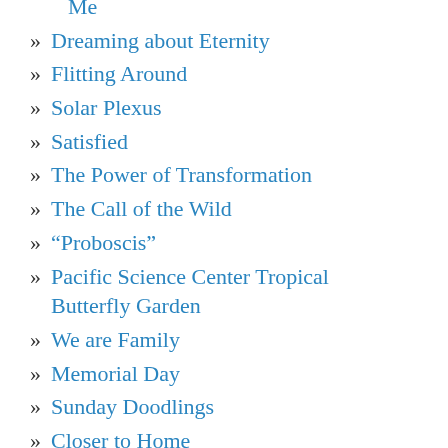Me
Dreaming about Eternity
Flitting Around
Solar Plexus
Satisfied
The Power of Transformation
The Call of the Wild
“Proboscis”
Pacific Science Center Tropical Butterfly Garden
We are Family
Memorial Day
Sunday Doodlings
Closer to Home
The Art of Becoming
Hollo's "A Town Dedicated to the